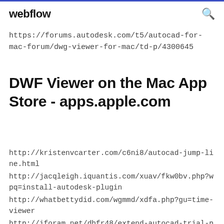webflow
https://forums.autodesk.com/t5/autocad-for-mac-forum/dwg-viewer-for-mac/td-p/4300645
DWF Viewer on the Mac App Store - apps.apple.com
http://kristenvcarter.com/c6ni8/autocad-jump-line.html
http://jacqleigh.iquantis.com/xuav/fkw0bv.php?wpq=install-autodesk-plugin
http://whatbettydid.com/wgmmd/xdfa.php?gu=time-viewer
http://iforam.net/dhfr48/extend-autocad-trial-period.html